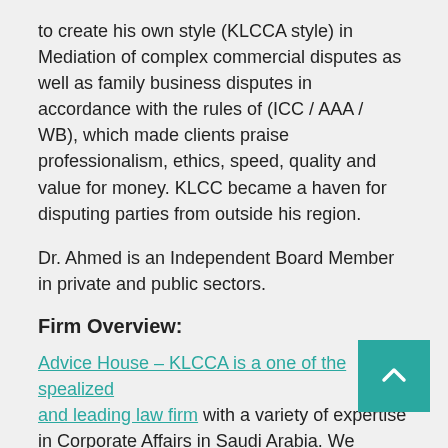to create his own style (KLCCA style) in Mediation of complex commercial disputes as well as family business disputes in accordance with the rules of (ICC / AAA / WB), which made clients praise professionalism, ethics, speed, quality and value for money. KLCC became a haven for disputing parties from outside his region.
Dr. Ahmed is an Independent Board Member in private and public sectors.
Firm Overview:
Advice House – KLCCA is a one of the specialized and leading law firm with a variety of expertise in Corporate Affairs in Saudi Arabia. We belong